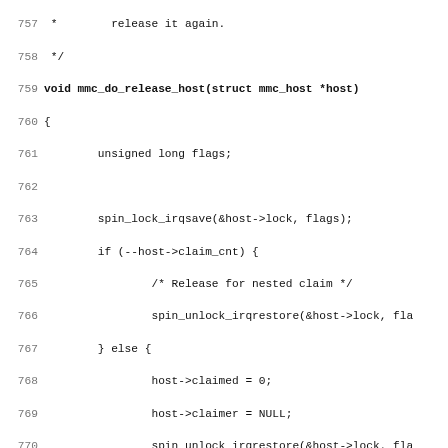[Figure (screenshot): Source code listing showing C functions mmc_do_release_host and mmc_host_deeper_disable with line numbers 757-789]